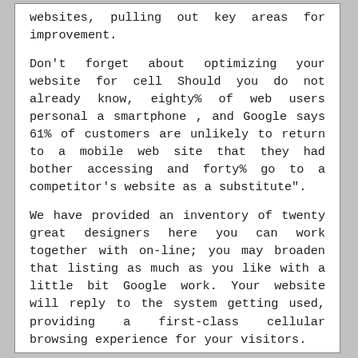websites, pulling out key areas for improvement.
Don't forget about optimizing your website for cell Should you do not already know, eighty% of web users personal a smartphone , and Google says 61% of customers are unlikely to return to a mobile web site that they had bother accessing and forty% go to a competitor's website as a substitute".
We have provided an inventory of twenty great designers here you can work together with on-line; you may broaden that listing as much as you like with a little bit Google work. Your website will reply to the system getting used, providing a first-class cellular browsing experience for your visitors.
The hamburger icon itself is very small, and it opens up your principal menu once you click on it.